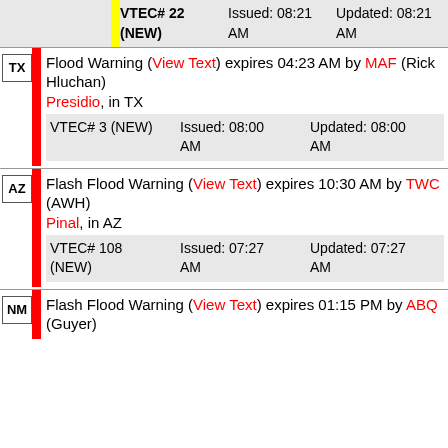Eastern Alaska Range, in AK
VTEC# 22 (NEW)   Issued: 08:21 AM   Updated: 08:21 AM
Flood Warning (View Text) expires 04:23 AM by MAF (Rick Hluchan)
Presidio, in TX
VTEC# 3 (NEW)   Issued: 08:00 AM   Updated: 08:00 AM
Flash Flood Warning (View Text) expires 10:30 AM by TWC (AWH)
Pinal, in AZ
VTEC# 108 (NEW)   Issued: 07:27 AM   Updated: 07:27 AM
Flash Flood Warning (View Text) expires 01:15 PM by ABQ (Guyer)